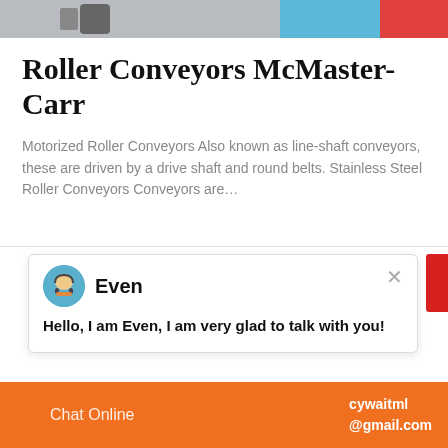[Figure (photo): Top image strip showing industrial/conveyor equipment with blue and red accents]
Roller Conveyors McMaster-Carr
Motorized Roller Conveyors Also known as line-shaft conveyors, these are driven by a drive shaft and round belts. Stainless Steel Roller Conveyors Conveyors are…
[Figure (screenshot): Chat widget popup with avatar of agent named 'Even' and message: Hello, I am Even, I am very glad to talk with you!]
[Figure (photo): Quarry or open-pit mining site with rocky terrain and blue sky]
[Figure (photo): Person in striped shirt with notification badge showing number 1 and Click to chat button]
Enquiry
Chat Online   cywaitml @gmail.com